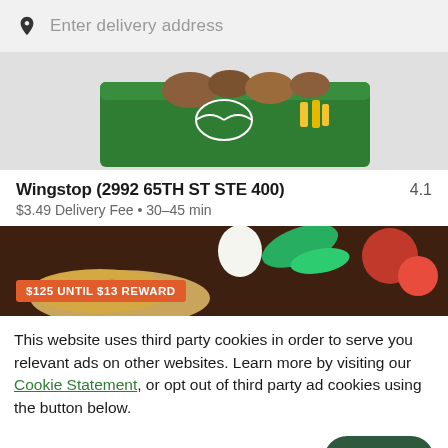Enter delivery address
[Figure (photo): Wingstop green branded food basket with chicken wings and fries, photographed from above]
Wingstop (2992 65TH ST STE 400)
$3.49 Delivery Fee • 30–45 min
[Figure (photo): Food ingredients including tomatoes, basil, egg, and bread on a wooden board with an orange promo badge reading $125 UNTIL $13 REWARD]
This website uses third party cookies in order to serve you relevant ads on other websites. Learn more by visiting our Cookie Statement, or opt out of third party ad cookies using the button below.